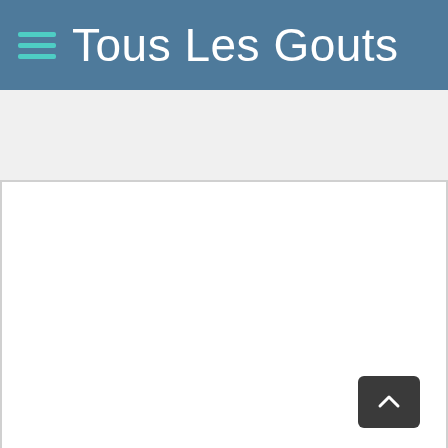Tous Les Gouts
[Figure (screenshot): White content area, blank page body of a web application]
[Figure (other): Scroll-to-top button, dark rounded rectangle with upward chevron arrow icon, positioned at bottom right]